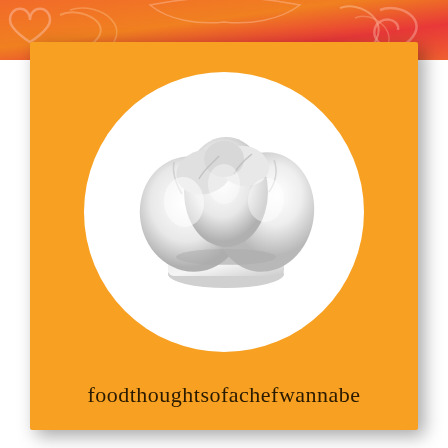[Figure (logo): Blog logo for 'foodthoughtsofachefwannabe' featuring a white 3D chef hat on a white oval background set on an orange square card, with a decorative pink/red swirl banner at the top]
foodthoughtsofachefwannabe